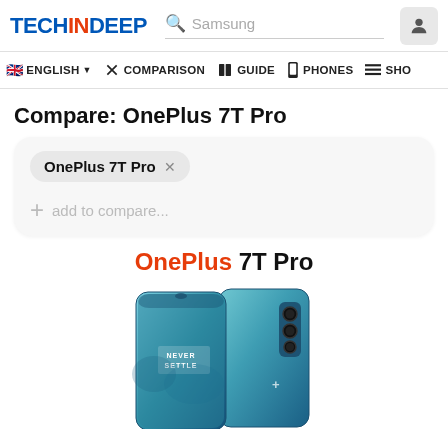TECHINDEEP — Samsung search bar — user icon
ENGLISH | COMPARISON | GUIDE | PHONES | SHO
Compare: OnePlus 7T Pro
OnePlus 7T Pro ×
+ add to compare...
OnePlus 7T Pro
[Figure (photo): OnePlus 7T Pro smartphone shown from the front and back, blue gradient color, NEVER SETTLE text on back, triple camera module visible]